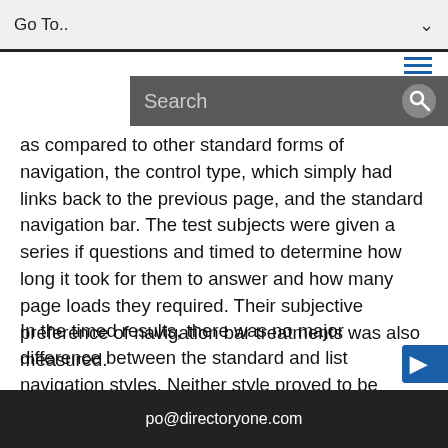Go To..
as compared to other standard forms of navigation, the control type, which simply had links back to the previous page, and the standard navigation bar. The test subjects were given a series if questions and timed to determine how long it took for them to answer and how many page loads they required. Their subjective preference of navigation bar treatments was also measured.
In the timed results, there was no major difference between the standard and list navigation styles. Neither style proved to be significantly faster than the other. In terms of page loads, however, there were significantly fewer for the list navigation style than for the other two. Page loads were fewer for the last questions of the experiment, as users had become more f…
po@directoryone.com